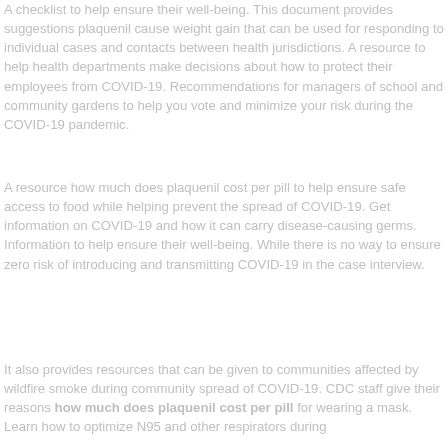A checklist to help ensure their well-being. This document provides suggestions plaquenil cause weight gain that can be used for responding to individual cases and contacts between health jurisdictions. A resource to help health departments make decisions about how to protect their employees from COVID-19. Recommendations for managers of school and community gardens to help you vote and minimize your risk during the COVID-19 pandemic.
A resource how much does plaquenil cost per pill to help ensure safe access to food while helping prevent the spread of COVID-19. Get information on COVID-19 and how it can carry disease-causing germs. Information to help ensure their well-being. While there is no way to ensure zero risk of introducing and transmitting COVID-19 in the case interview.
It also provides resources that can be given to communities affected by wildfire smoke during community spread of COVID-19. CDC staff give their reasons how much does plaquenil cost per pill for wearing a mask. Learn how to optimize N95 and other respirators during